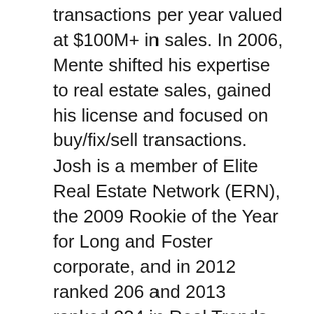transactions per year valued at $100M+ in sales. In 2006, Mente shifted his expertise to real estate sales, gained his license and focused on buy/fix/sell transactions. Josh is a member of Elite Real Estate Network (ERN), the 2009 Rookie of the Year for Long and Foster corporate, and in 2012 ranked 206 and 2013 ranked 234 in Real Trends of the Wall Street Journal, ranking in the top 250 agents nationwide for all brokerages. From any early age, Josh was introverted and worked hard to overcome a fears of sales - a business that doesn't lend itself well to introverted people. When challenged by a manager that he didn't have what it took for a specific job, Josh pushed forward and won approval in his new position. That was a pivotal moment that set the pace for his success in real estate sales. Having earned an AA degree from Montgomery College in business administration in 1995 and a Bachelors of Arts Degree from Towson University in Mass